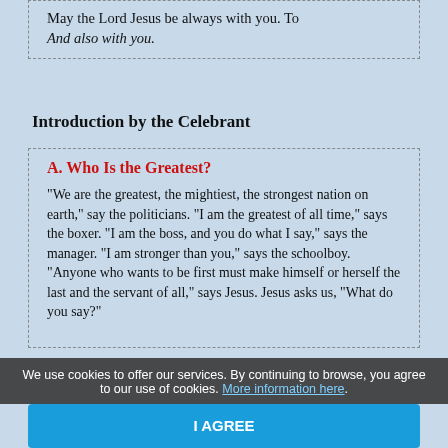May the Lord Jesus be always with you. To And also with you.
Introduction by the Celebrant
A. Who Is the Greatest?
"We are the greatest, the mightiest, the strongest nation on earth," say the politicians. "I am the greatest of all time," says the boxer. "I am the boss, and you do what I say," says the manager. "I am stronger than you," says the schoolboy. "Anyone who wants to be first must make himself or herself the last and the servant of all," says Jesus. Jesus asks us, "What do you say?"
We use cookies to offer our services. By continuing to browse, you agree to our use of cookies. More information here.
I AGREE
defenseless and fragile children are. That is